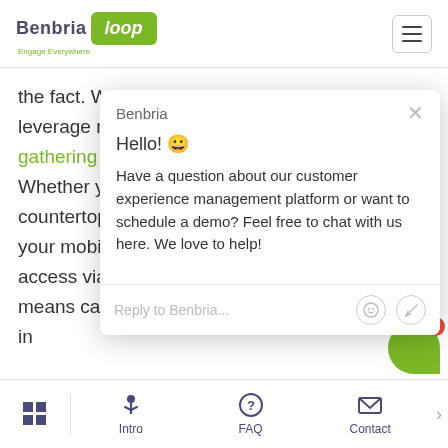[Figure (screenshot): Benbria Loop website header with logo and hamburger menu icon]
the fact. With a provider like Benbria, you can leverage multiple o gathering tools with Whether you want countertop touchsc your mobile app, o access via text or a means can help you measure every critical point in their journey.
[Figure (screenshot): Benbria chat popup widget with greeting: Hello! Have a question about our customer experience management platform or want to schedule a demo? Feel free to chat with us here. We love to help! Reply to Benbria... input field with emoji and attachment icons.]
Intro  FAQ  Contact